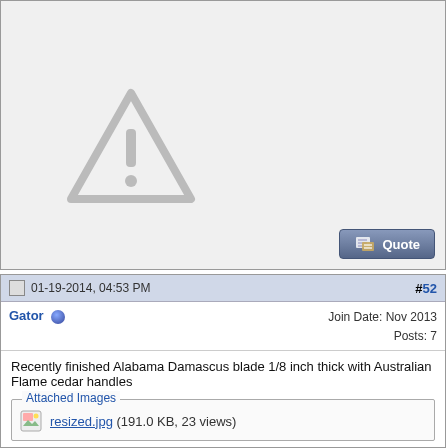[Figure (illustration): Broken image placeholder: light grey box with a grey triangle warning icon (exclamation mark) in the center-left area]
[Figure (screenshot): Quote button in bottom-right of top post area]
01-19-2014, 04:53 PM
#52
Gator
Join Date: Nov 2013
Posts: 7
Recently finished Alabama Damascus blade 1/8 inch thick with Australian Flame cedar handles
Attached Images
resized.jpg (191.0 KB, 23 views)